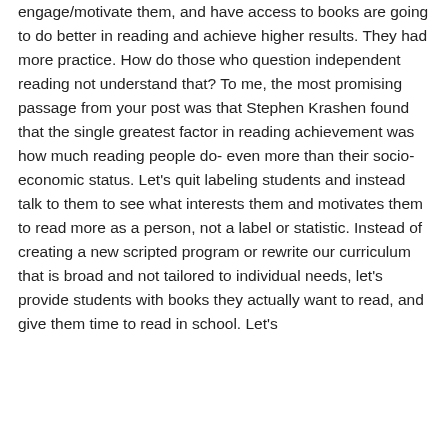engage/motivate them, and have access to books are going to do better in reading and achieve higher results. They had more practice. How do those who question independent reading not understand that? To me, the most promising passage from your post was that Stephen Krashen found that the single greatest factor in reading achievement was how much reading people do- even more than their socio-economic status. Let's quit labeling students and instead talk to them to see what interests them and motivates them to read more as a person, not a label or statistic. Instead of creating a new scripted program or rewrite our curriculum that is broad and not tailored to individual needs, let's provide students with books they actually want to read, and give them time to read in school. Let's